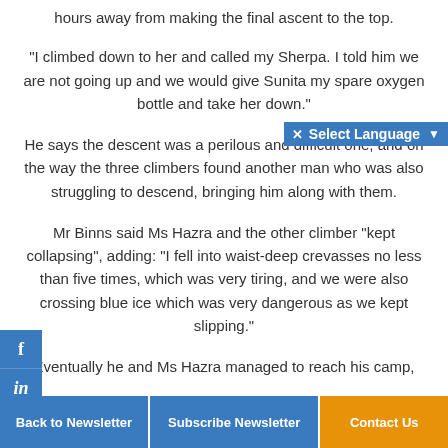hours away from making the final ascent to the top.
"I climbed down to her and called my Sherpa. I told him we are not going up and we would give Sunita my spare oxygen bottle and take her down."
He says the descent was a perilous and difficult one, and on the way the three climbers found another man who was also struggling to descend, bringing him along with them.
Mr Binns said Ms Hazra and the other climber "kept collapsing", adding: "I fell into waist-deep crevasses no less than five times, which was very tiring, and we were also crossing blue ice which was very dangerous as we kept slipping."
Eventually he and Ms Hazra managed to reach his camp,
Back to Newsletter | Subscribe Newsletter | Contact Us